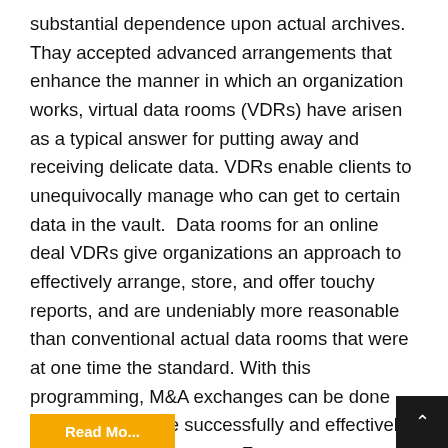substantial dependence upon actual archives. Thay accepted advanced arrangements that enhance the manner in which an organization works, virtual data rooms (VDRs) have arisen as a typical answer for putting away and receiving delicate data. VDRs enable clients to unequivocally manage who can get to certain data in the vault.  Data rooms for an online deal VDRs give organizations an approach to effectively arrange, store, and offer touchy reports, and are undeniably more reasonable than conventional actual data rooms that were at one time the standard. With this programming, M&A exchanges can be done substantially more successfully and effectively from practically any area. For monetary exchanges, VDR programming has grown conventional work on, supplanting the once-universal actual data room. Actual data rooms